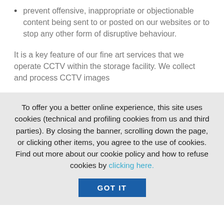prevent offensive, inappropriate or objectionable content being sent to or posted on our websites or to stop any other form of disruptive behaviour.
It is a key feature of our fine art services that we operate CCTV within the storage facility. We collect and process CCTV images
To offer you a better online experience, this site uses cookies (technical and profiling cookies from us and third parties). By closing the banner, scrolling down the page, or clicking other items, you agree to the use of cookies. Find out more about our cookie policy and how to refuse cookies by clicking here.